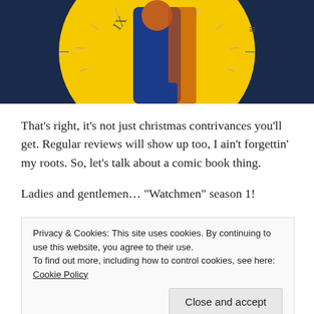[Figure (photo): Promotional image for Watchmen TV series - figure in blue against yellow clock background with Roman numerals IX and III visible]
That’s right, it’s not just christmas contrivances you’ll get. Regular reviews will show up too, I ain’t forgettin’ my roots. So, let’s talk about a comic book thing.
Ladies and gentlemen… “Watchmen” season 1!
Set in an alternate version of 2019, “Watchmen” follows a whole bunch of people, as they try to navigate the
Privacy & Cookies: This site uses cookies. By continuing to use this website, you agree to their use.
To find out more, including how to control cookies, see here: Cookie Policy
kinda ruining it. But I’ll say that the ways it ties into the